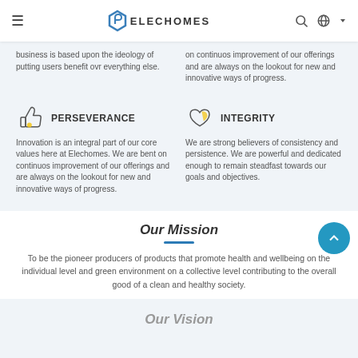ELECHOMES
business is based upon the ideology of putting users benefit ovr everything else.
on continuos improvement of our offerings and are always on the lookout for new and innovative ways of progress.
PERSEVERANCE
Innovation is an integral part of our core values here at Elechomes. We are bent on continuos improvement of our offerings and are always on the lookout for new and innovative ways of progress.
INTEGRITY
We are strong believers of consistency and persistence. We are powerful and dedicated enough to remain steadfast towards our goals and objectives.
Our Mission
To be the pioneer producers of products that promote health and wellbeing on the individual level and green environment on a collective level contributing to the overall good of a clean and healthy society.
Our Vision